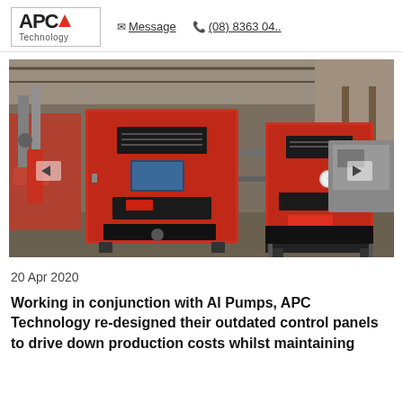APC Technology  ✉ Message  (08) 8363 04..
[Figure (photo): Industrial orange/red control panels and pumping equipment inside a warehouse/workshop. Two large red metal enclosures on stands with piping, valves, and electrical components visible.]
20 Apr 2020
Working in conjunction with Al Pumps, APC Technology re-designed their outdated control panels to drive down production costs whilst maintaining